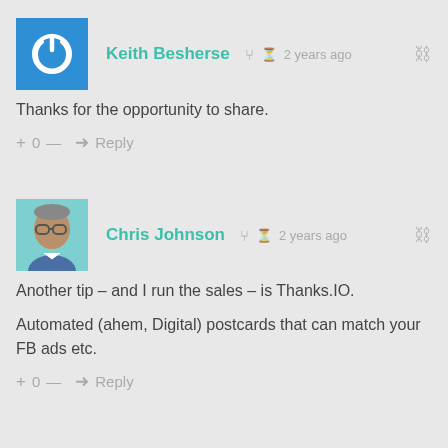[Figure (illustration): Keith Besherse avatar: blue square with white power/refresh circular icon]
Keith Besherse  2 years ago
Thanks for the opportunity to share.
+ 0 —  Reply
[Figure (photo): Chris Johnson avatar: photo of man with glasses and grey hair on teal background]
Chris Johnson  2 years ago
Another tip – and I run the sales – is Thanks.IO.
Automated (ahem, Digital) postcards that can match your FB ads etc.
+ 0 —  Reply